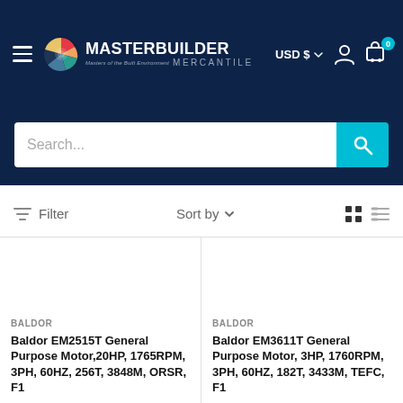[Figure (screenshot): Masterbuilder Mercantile e-commerce website header with logo, USD currency selector, user icon, and cart icon with 0 badge]
[Figure (screenshot): Search bar with placeholder text 'Search...' and cyan search button]
[Figure (screenshot): Filter and Sort by toolbar with grid and list view toggle icons]
BALDOR
Baldor EM2515T General Purpose Motor,20HP, 1765RPM, 3PH, 60HZ, 256T, 3848M, ORSR, F1
BALDOR
Baldor EM3611T General Purpose Motor, 3HP, 1760RPM, 3PH, 60HZ, 182T, 3433M, TEFC, F1